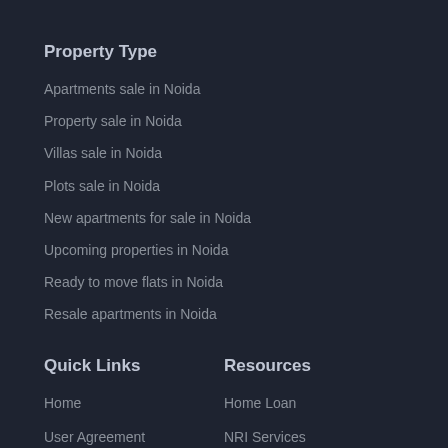Property Type
Apartments sale in Noida
Property sale in Noida
Villas sale in Noida
Plots sale in Noida
New apartments for sale in Noida
Upcoming properties in Noida
Ready to move flats in Noida
Resale apartments in Noida
Quick Links
Resources
Home
Home Loan
User Agreement
NRI Services